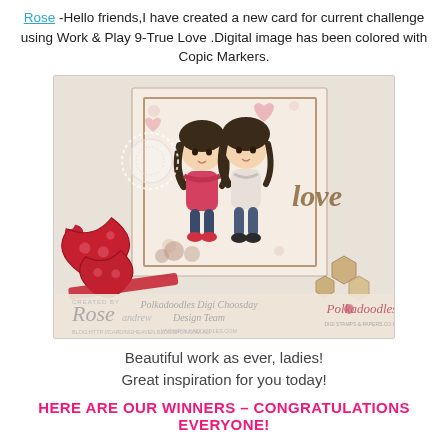Rose -Hello friends,I have created a new card for current challenge using Work & Play 9-True Love .Digital image has been colored with Copic Markers.
[Figure (photo): A handmade card craft project featuring two cartoon characters side by side with brown hair, floral/botanical background, a 'love' word cut in wood/kraft, red heart die cuts in foreground, wood hexagon embellishments, lace doily, and flowers. Watermark bar at bottom shows Rose Andrew signature, Polkadoodles Digi Choosday Design Team, and Polkadoodles logo.]
Beautiful work as ever, ladies!
Great inspiration for you today!
HERE ARE OUR WINNERS – CONGRATULATIONS EVERYONE!